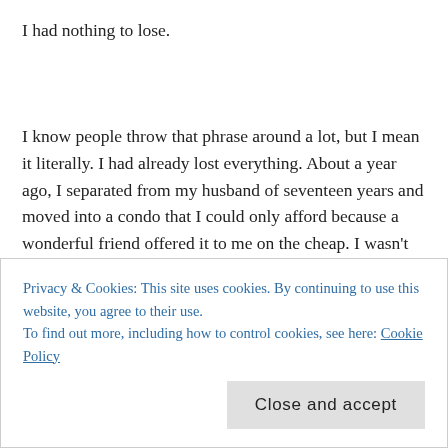I had nothing to lose.
I know people throw that phrase around a lot, but I mean it literally. I had already lost everything. About a year ago, I separated from my husband of seventeen years and moved into a condo that I could only afford because a wonderful friend offered it to me on the cheap. I wasn't only leaving him, but my two dogs; my silly, sweet, fuzzy girls. From that moment on, I had to redefine my life. I had to rip out all the future pages of my life's calendar and burn them. Everything I had
Privacy & Cookies: This site uses cookies. By continuing to use this website, you agree to their use.
To find out more, including how to control cookies, see here: Cookie Policy
great reviews. But I was still reeling. I couldn't see my future more